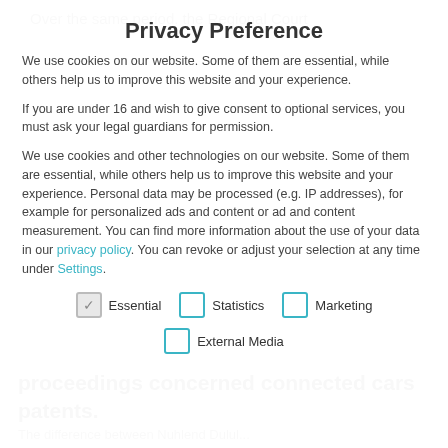Over the same period, the Regional Court
Privacy Preference
We use cookies on our website. Some of them are essential, while others help us to improve this website and your experience.
If you are under 16 and wish to give consent to optional services, you must ask your legal guardians for permission.
We use cookies and other technologies on our website. Some of them are essential, while others help us to improve this website and your experience. Personal data may be processed (e.g. IP addresses), for example for personalized ads and content or ad and content measurement. You can find more information about the use of your data in our privacy policy. You can revoke or adjust your selection at any time under Settings.
Essential
Statistics
Marketing
External Media
proceedings concerned connected cars patents.
The difference between Nuhlend Dulul...